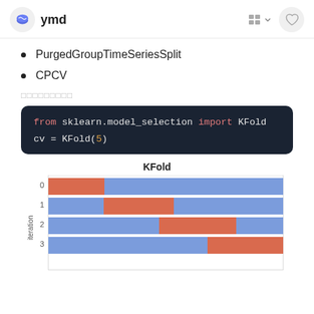ymd
PurgedGroupTimeSeriesSplit
CPCV
□□□□□□□□□
from sklearn.model_selection import KFold
cv = KFold(5)
[Figure (bar-chart): KFold cross-validation visualization showing train (blue) and test (red/orange) splits for iterations 0-3]